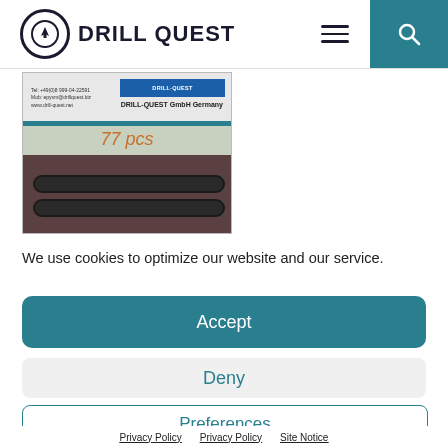DRILL QUEST
[Figure (photo): Product photo showing O-rings or seals with a Drill-Quest GmbH Germany label and handwritten '77 pcs' quantity notation]
We use cookies to optimize our website and our service.
Accept
Deny
Preferences
Privacy Policy   Privacy Policy   Site Notice